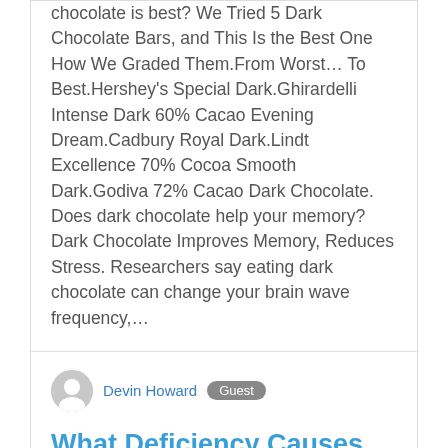chocolate is best? We Tried 5 Dark Chocolate Bars, and This Is the Best One How We Graded Them.From Worst… To Best.Hershey's Special Dark.Ghirardelli Intense Dark 60% Cacao Evening Dream.Cadbury Royal Dark.Lindt Excellence 70% Cocoa Smooth Dark.Godiva 72% Cacao Dark Chocolate. Does dark chocolate help your memory? Dark Chocolate Improves Memory, Reduces Stress. Researchers say eating dark chocolate can change your brain wave frequency,…
Devin Howard  Guest
What Deficiency Causes Chocolate Cravings?
Cravings for specific foods could be an